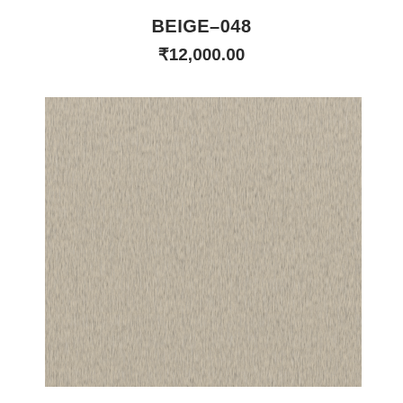BEIGE-048
₹12,000.00
[Figure (photo): A close-up photograph of a beige fabric swatch with a subtle woven texture and slight horizontal striation pattern. The fabric is a soft warm beige/cream color.]